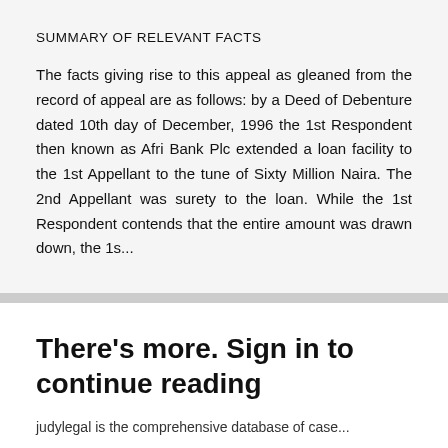SUMMARY OF RELEVANT FACTS
The facts giving rise to this appeal as gleaned from the record of appeal are as follows: by a Deed of Debenture dated 10th day of December, 1996 the 1st Respondent then known as Afri Bank Plc extended a loan facility to the 1st Appellant to the tune of Sixty Million Naira. The 2nd Appellant was surety to the loan. While the 1st Respondent contends that the entire amount was drawn down, the 1s...
There's more. Sign in to continue reading
judylegal is the comprehensive database of case...